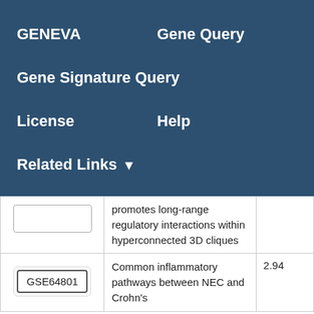GENEVA   Gene Query   Gene Signature Query   License   Help   Related Links
| GEO ID | Description | Score |
| --- | --- | --- |
|  | promotes long-range regulatory interactions within hyperconnected 3D cliques |  |
| GSE64801 | Common inflammatory pathways between NEC and Crohn's | 2.94 |